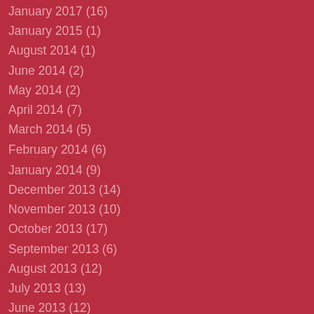January 2017 (16)
January 2015 (1)
August 2014 (1)
June 2014 (2)
May 2014 (2)
April 2014 (7)
March 2014 (5)
February 2014 (6)
January 2014 (9)
December 2013 (14)
November 2013 (10)
October 2013 (17)
September 2013 (6)
August 2013 (12)
July 2013 (13)
June 2013 (12)
May 2013 (14)
April 2013 (22)
March 2013 (12)
February 2013 (8)
January 2013 (20)